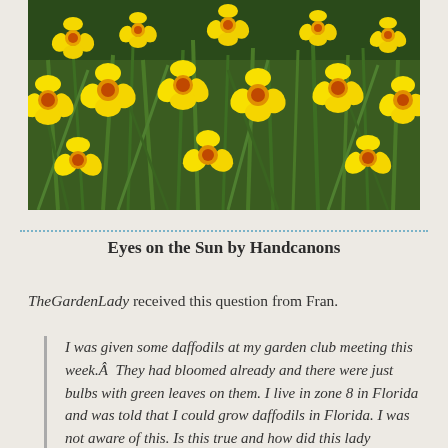[Figure (photo): A dense field of yellow daffodils with orange-red centers and green stems and leaves, photographed outdoors.]
Eyes on the Sun by Handcanons
TheGardenLady received this question from Fran.
I was given some daffodils at my garden club meeting this week.Â  They had bloomed already and there were just bulbs with green leaves on them. I live in zone 8 in Florida and was told that I could grow daffodils in Florida. I was not aware of this. Is this true and how did this lady